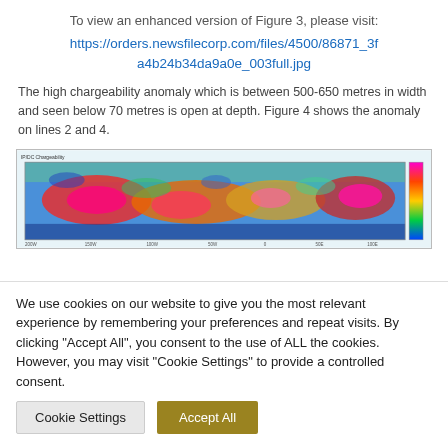To view an enhanced version of Figure 3, please visit:
https://orders.newsfilecorp.com/files/4500/86871_3fa4b24b34da9a0e_003full.jpg
The high chargeability anomaly which is between 500-650 metres in width and seen below 70 metres is open at depth. Figure 4 shows the anomaly on lines 2 and 4.
[Figure (other): Chargeability anomaly heatmap cross-section showing high chargeability zones in bright red/pink and magenta colours against a blue/green background, with a colour scale bar on the right side.]
We use cookies on our website to give you the most relevant experience by remembering your preferences and repeat visits. By clicking "Accept All", you consent to the use of ALL the cookies. However, you may visit "Cookie Settings" to provide a controlled consent.